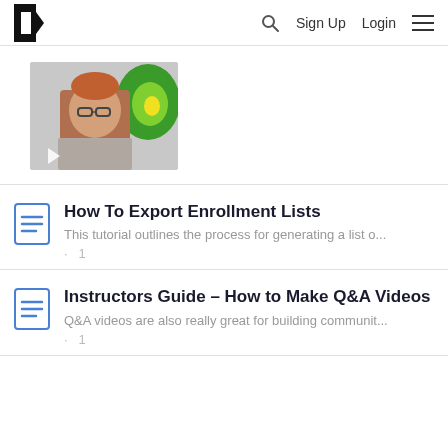Teachable — Sign Up  Login
[Figure (photo): Man with glasses holding small object in front of colorful green spiral artwork background — video thumbnail with play button]
How To Export Enrollment Lists
This tutorial outlines the process for generating a list o...
· 1
Instructors Guide – How to Make Q&A Videos
Q&A videos are also really great for building communit...
· 1